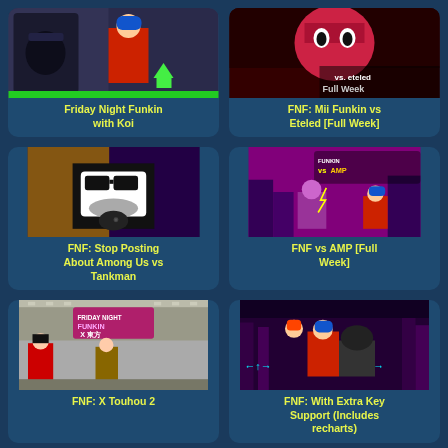[Figure (screenshot): Friday Night Funkin with Koi game thumbnail - shows pixel art characters]
Friday Night Funkin with Koi
[Figure (screenshot): FNF: Mii Funkin vs Eteled Full Week thumbnail]
FNF: Mii Funkin vs Eteled [Full Week]
[Figure (screenshot): FNF: Stop Posting About Among Us vs Tankman thumbnail - black and white character with microphone]
FNF: Stop Posting About Among Us vs Tankman
[Figure (screenshot): FNF vs AMP Full Week thumbnail - pixel art fighting scene]
FNF vs AMP [Full Week]
[Figure (screenshot): FNF: X Touhou 2 thumbnail - anime style characters]
FNF: X Touhou 2
[Figure (screenshot): FNF: With Extra Key Support Includes recharts thumbnail]
FNF: With Extra Key Support (Includes recharts)
[Figure (screenshot): Bottom left game thumbnail partially visible]
[Figure (screenshot): Bottom right game thumbnail partially visible]